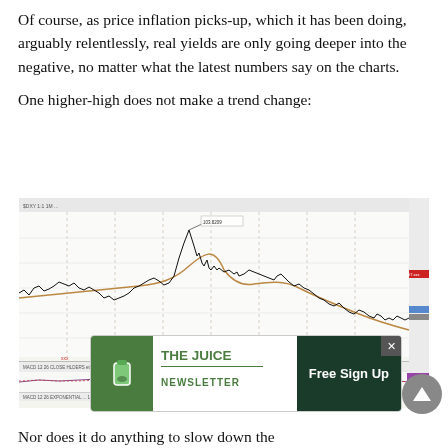Of course, as price inflation picks-up, which it has been doing, arguably relentlessly, real yields are only going deeper into the negative, no matter what the latest numbers say on the charts.
One higher-high does not make a trend change:
[Figure (continuous-plot): US Dollar Index ($DXY) Daily chart showing price action with moving averages, a high peak annotated in the middle section, and oscillator indicators below the main price panel. The chart shows a declining trend.]
[Figure (other): Advertisement overlay for 'The Juice Newsletter' with a green cup logo, text 'THE JUICE NEWSLETTER' and a dark green 'Free Sign Up' button.]
Nor does it do anything to slow down the